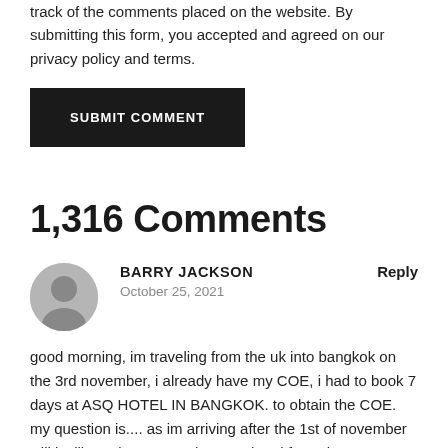track of the comments placed on the website. By submitting this form, you accepted and agreed on our privacy policy and terms.
SUBMIT COMMENT
1,316 Comments
BARRY JACKSON
October 25, 2021
good morning, im traveling from the uk into bangkok on the 3rd november, i already have my COE, i had to book 7 days at ASQ HOTEL IN BANGKOK. to obtain the COE. my question is.... as im arriving after the 1st of november will i still need to stay at the ASQ hotel for 7 days as my COE states?. i have emailed the hotel and they dont seem to